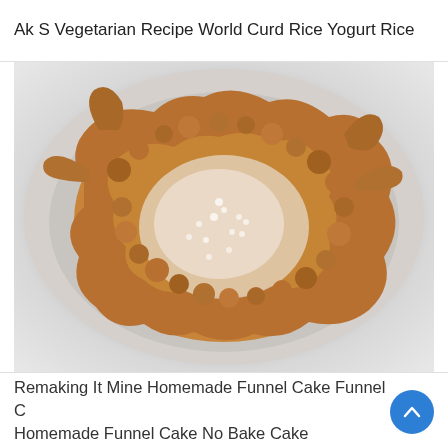Ak S Vegetarian Recipe World Curd Rice Yogurt Rice
[Figure (photo): A top-down photograph of a funnel cake dusted with powdered sugar, placed on a white surface. The fried dough is golden-brown and irregularly shaped with crispy edges.]
Remaking It Mine Homemade Funnel Cake Funnel C Homemade Funnel Cake No Bake Cake